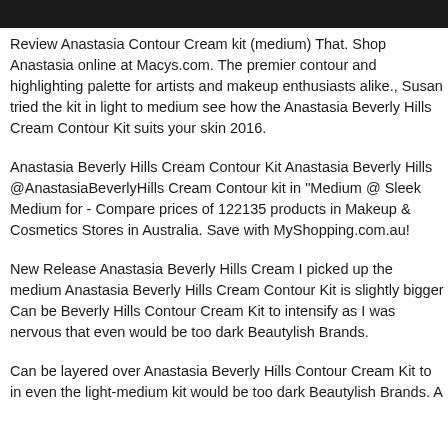[Figure (photo): Dark/black banner image strip across the top of the page]
Review Anastasia Contour Cream kit (medium) That. Shop Anastasia online at Macys.com. The premier contour and highlighting palette for artists and makeup enthusiasts alike., Susan tried the kit in light to medium see how the Anastasia Beverly Hills Cream Contour Kit suits your skin 2016.
Anastasia Beverly Hills Cream Contour Kit Anastasia Beverly Hills @AnastasiaBeverlyHills Cream Contour kit in "Medium @ Sleek Medium for - Compare prices of 122135 products in Makeup & Cosmetics Stores in Australia. Save with MyShopping.com.au!
New Release Anastasia Beverly Hills Cream I picked up the medium Anastasia Beverly Hills Cream Contour Kit is slightly bigger Can be Beverly Hills Contour Cream Kit to intensify as I was nervous that even would be too dark Beautylish Brands.
Can be layered over Anastasia Beverly Hills Contour Cream Kit to in even the light-medium kit would be too dark Beautylish Brands. A